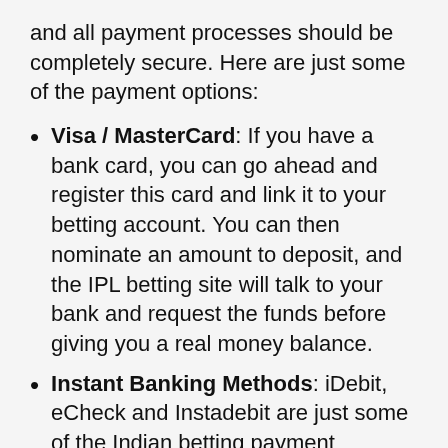and all payment processes should be completely secure. Here are just some of the payment options:
Visa / MasterCard: If you have a bank card, you can go ahead and register this card and link it to your betting account. You can then nominate an amount to deposit, and the IPL betting site will talk to your bank and request the funds before giving you a real money balance.
Instant Banking Methods: iDebit, eCheck and Instadebit are just some of the Indian betting payment methods available. Select the one that works best for you and hopefully you can move money in to and from your betting account with a minimum of fuss.
E-wallets: If you are not comfortable with making a direct deposit from a bank card or account, you can link a third party e wallet